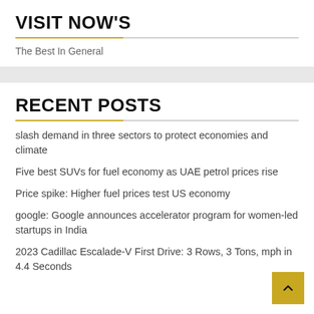VISIT NOW'S
The Best In General
RECENT POSTS
slash demand in three sectors to protect economies and climate
Five best SUVs for fuel economy as UAE petrol prices rise
Price spike: Higher fuel prices test US economy
google: Google announces accelerator program for women-led startups in India
2023 Cadillac Escalade-V First Drive: 3 Rows, 3 Tons, mph in 4.4 Seconds